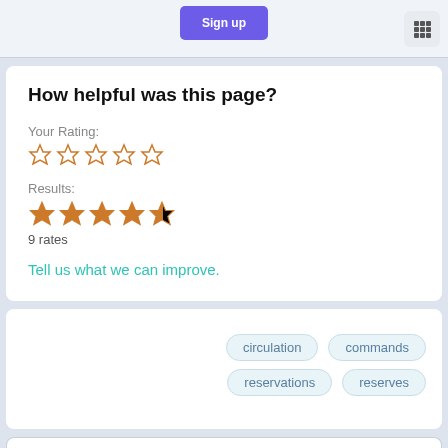[Figure (screenshot): Top navigation bar with a purple Sign Up button and a grid/apps icon on the right]
How helpful was this page?
Your Rating:
[Figure (other): Five empty star rating icons for user input]
Results:
[Figure (other): Four and a half filled orange stars showing results rating]
9 rates
Tell us what we can improve.
circulation  commands  reservations  reserves